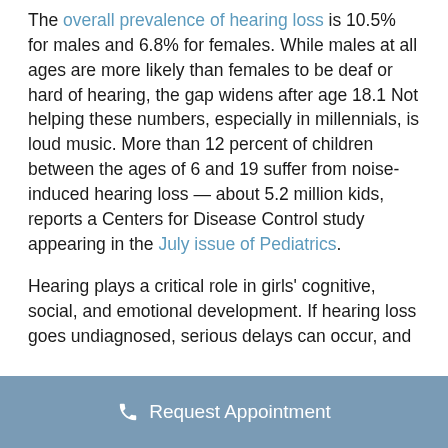The overall prevalence of hearing loss is 10.5% for males and 6.8% for females. While males at all ages are more likely than females to be deaf or hard of hearing, the gap widens after age 18.1 Not helping these numbers, especially in millennials, is loud music. More than 12 percent of children between the ages of 6 and 19 suffer from noise-induced hearing loss — about 5.2 million kids, reports a Centers for Disease Control study appearing in the July issue of Pediatrics.
Hearing plays a critical role in girls' cognitive, social, and emotional development. If hearing loss goes undiagnosed, serious delays can occur, and
Request Appointment